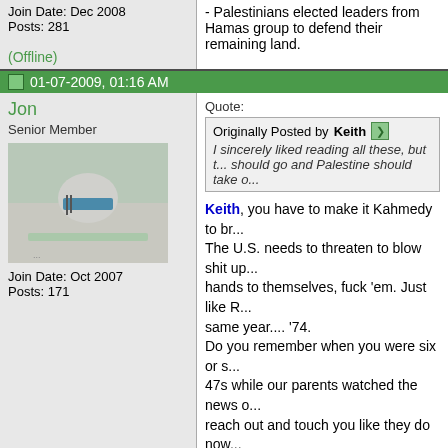Join Date: Dec 2008
Posts: 281
(Offline)
- Palestinians elected leaders from Hamas group to defend their remaining land.
01-07-2009, 01:16 AM
Jon
Senior Member
[Figure (photo): Avatar image showing an object against a light background]
Join Date: Oct 2007
Posts: 171
Quote: Originally Posted by Keith - I sincerely liked reading all these, but t... should go and Palestine should take o...
Keith, you have to make it Kahmedy to br... The U.S. needs to threaten to blow shit up... hands to themselves, fuck 'em. Just like R... same year.... '74.
Do you remember when you were six or s... 47s while our parents watched the news o... reach out and touch you like they do now... boring show with the sun fixture in the bac... Same fuckin' shit. Diff Day. Nothing new... Brumsky. Grab friends and foes by the...
Quote: Originally Posted by SuperCujo - The whole region is a shit fight and the...